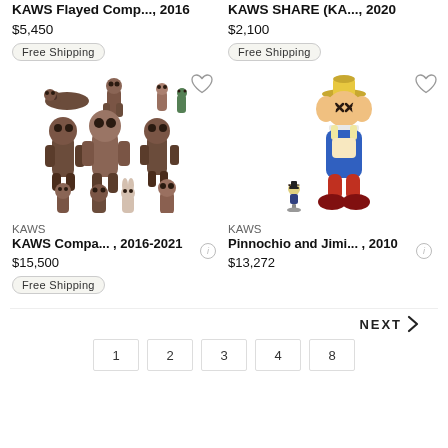KAWS Flayed Comp..., 2016
$5,450
Free Shipping
KAWS SHARE (KA..., 2020
$2,100
Free Shipping
[Figure (photo): KAWS Companion figurines collection, brown colorway, multiple poses, 2016-2021]
[Figure (photo): KAWS Pinocchio and Jiminy Cricket figures, Pinocchio with KAWS X hands covering face, yellow hat, red pants, 2010]
KAWS
KAWS Compa..., 2016-2021
$15,500
Free Shipping
KAWS
Pinnochio and Jimi..., 2010
$13,272
NEXT
1
2
3
4
8